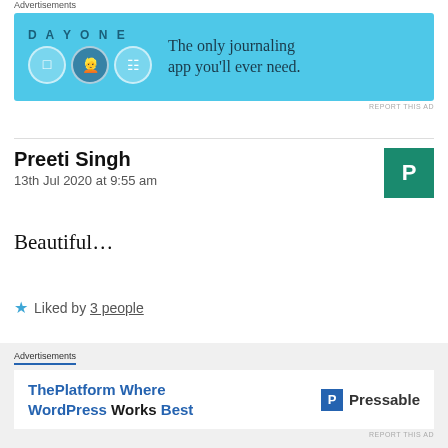[Figure (advertisement): Day One journaling app ad banner with blue background showing app icons and tagline 'The only journaling app you'll ever need.']
Preeti Singh
13th Jul 2020 at 9:55 am
Beautiful...
Liked by 3 people
Reply
[Figure (advertisement): Pressable WordPress hosting ad: 'ThePlatform Where WordPress Works Best' with Pressable logo]